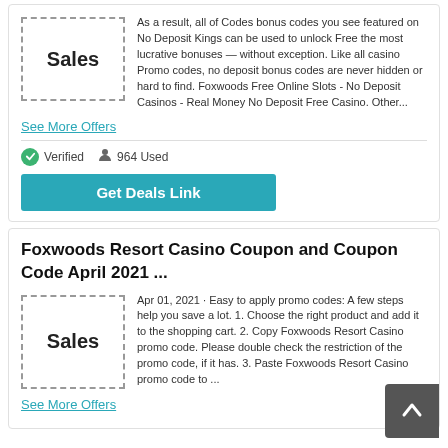As a result, all of Codes bonus codes you see featured on No Deposit Kings can be used to unlock Free the most lucrative bonuses — without exception. Like all casino Promo codes, no deposit bonus codes are never hidden or hard to find. Foxwoods Free Online Slots - No Deposit Casinos - Real Money No Deposit Free Casino. Other...
See More Offers
Verified   964 Used
Get Deals Link
Foxwoods Resort Casino Coupon and Coupon Code April 2021 ...
Apr 01, 2021 · Easy to apply promo codes: A few steps help you save a lot. 1. Choose the right product and add it to the shopping cart. 2. Copy Foxwoods Resort Casino promo code. Please double check the restriction of the promo code, if it has. 3. Paste Foxwoods Resort Casino promo code to ...
See More Offers